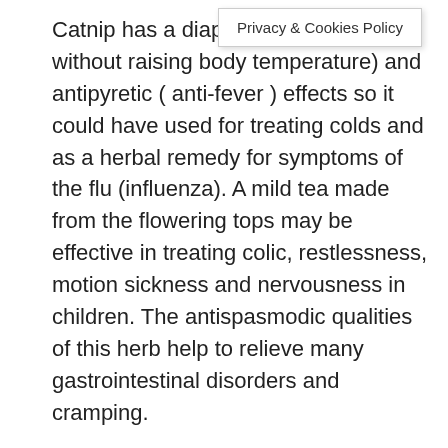[Figure (other): Privacy & Cookies Policy tooltip/popup overlay box]
Catnip has a diaphoretic (perspiration without raising body temperature) and antipyretic ( anti-fever ) effects so it could have used for treating colds and as a herbal remedy for symptoms of the flu (influenza). A mild tea made from the flowering tops may be effective in treating colic, restlessness, motion sickness and nervousness in children. The antispasmodic qualities of this herb help to relieve many gastrointestinal disorders and cramping.
Catnip has long been thought to have medicinal properties. Its dried leaves and white flowers are traditionally used for this purpose. Both can be used to make tea, which is sometimes used to treat conditions like insomnia, anxiety, and headaches. In some cases, the roots of catnip can be used. However, these act as a stimulant instead of a